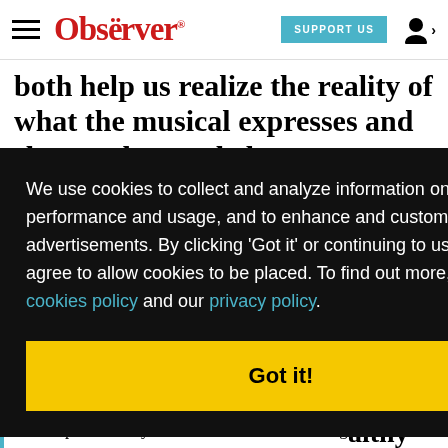Dallas Observer — hamburger menu, SUPPORT US button, user icon
both help us realize the reality of what the musical expresses and show us how to help
age
sex,
althy
We use cookies to collect and analyze information on site performance and usage, and to enhance and customize content and advertisements. By clicking 'Got it' or continuing to use the site, you agree to allow cookies to be placed. To find out more, visit our cookies policy and our privacy policy.
Got it!
e
s
ke
to keep it that way. With local media under siege, it's